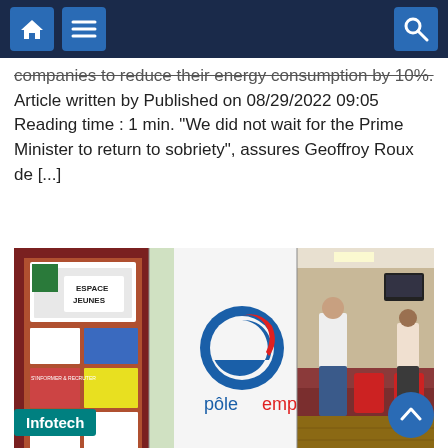Navigation bar with home, menu, and search icons
companies to reduce their energy consumption by 10%. Article written by Published on 08/29/2022 09:05 Reading time : 1 min. “We did not wait for the Prime Minister to return to sobriety”, assures Geoffroy Roux de [...]
[Figure (photo): Pôle emploi office: left panel shows an information board with 'ESPACE JEUNES' sign and posters; center panel shows the Pôle emploi logo (blue circle with 'e' and red swoosh, text 'pôle emploi'); right panel shows staff and clients at a reception desk.]
Infotech